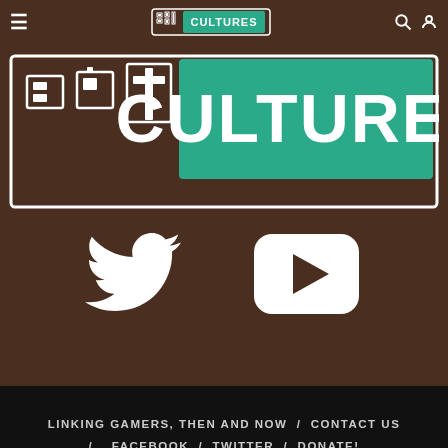Bit Cultures navigation bar with hamburger menu, logo, search and user icons
[Figure (logo): Bit Cultures large logo: pixelated 'Bit' letters in white outline on brown background, 'CULTURES' in white text on teal/green rectangle. Both enclosed in a white-outlined rectangular border.]
[Figure (illustration): Twitter bird icon (white) and YouTube play button icon (white rounded rectangle with triangle) on brown background]
LINKING GAMERS, THEN AND NOW / CONTACT US / FACEBOOK / TWITTER / DONATE! BIT CULTURES EST. 2015